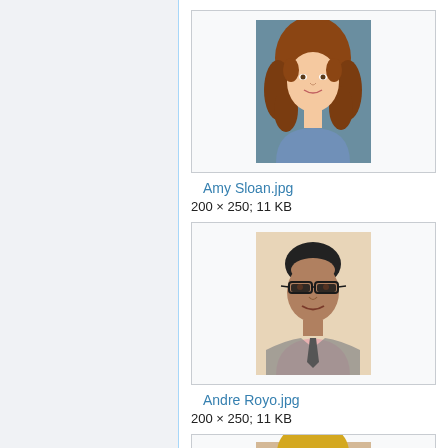[Figure (photo): Thumbnail image of Amy Sloan - a woman with curly auburn hair, smiling, wearing a blue top]
Amy Sloan.jpg
200 × 250; 11 KB
[Figure (photo): Thumbnail image of Andre Royo - a man wearing glasses, smiling, wearing a light pink shirt and grey jacket]
Andre Royo.jpg
200 × 250; 11 KB
[Figure (photo): Partial thumbnail of a third person, cropped at bottom of page - appears to be a blonde woman]